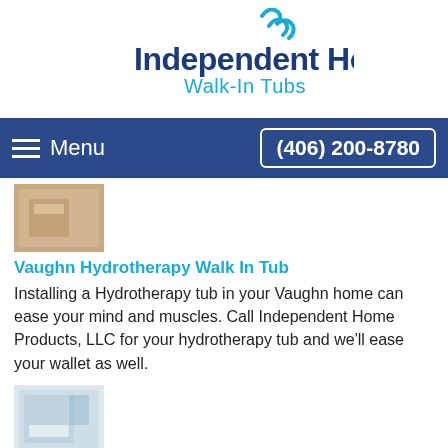[Figure (logo): Independent Home Walk-In Tubs logo with blue wave icon and blue text]
Menu  (406) 200-8780
[Figure (photo): Thumbnail photo of a walk-in tub]
Vaughn Hydrotherapy Walk In Tub
Installing a Hydrotherapy tub in your Vaughn home can ease your mind and muscles. Call Independent Home Products, LLC for your hydrotherapy tub and we'll ease your wallet as well.
[Figure (photo): Thumbnail photo of a handicap accessible bathtub]
Vaughn Handicap Accessible Bathtubs & Showers
Do you have the need for an Independent Home Products, LLC handicap accessible bathtub or handicap accessible shower in Vaughn, Montana? As the leading handicap tub & shower installer since 2007, call Independent Home